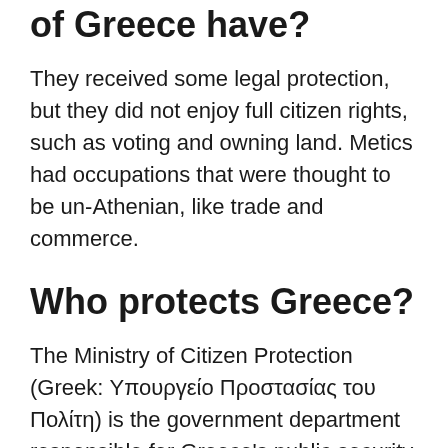of Greece have?
They received some legal protection, but they did not enjoy full citizen rights, such as voting and owning land. Metics had occupations that were thought to be un-Athenian, like trade and commerce.
Who protects Greece?
The Ministry of Citizen Protection (Greek: Υπουργείο Προστασίας του Πολίτη) is the government department responsible for Greece's public security services, i.e. the Hellenic Police, the Hellenic Fire Service, Hellenic (Corrections) Prison System, the Agrarian Police and the General Secretariat for Civil Protection...